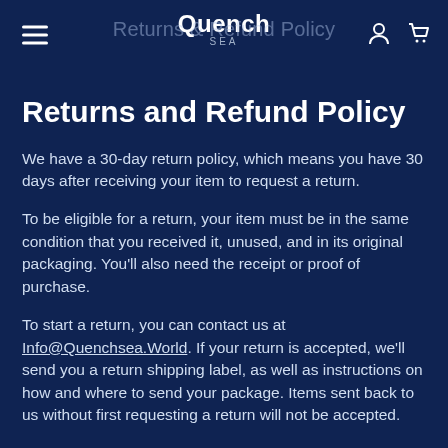Quench Sea — Returns & Refund Policy
Returns and Refund Policy
We have a 30-day return policy, which means you have 30 days after receiving your item to request a return.
To be eligible for a return, your item must be in the same condition that you received it, unused, and in its original packaging. You'll also need the receipt or proof of purchase.
To start a return, you can contact us at Info@Quenchsea.World. If your return is accepted, we'll send you a return shipping label, as well as instructions on how and where to send your package. Items sent back to us without first requesting a return will not be accepted.